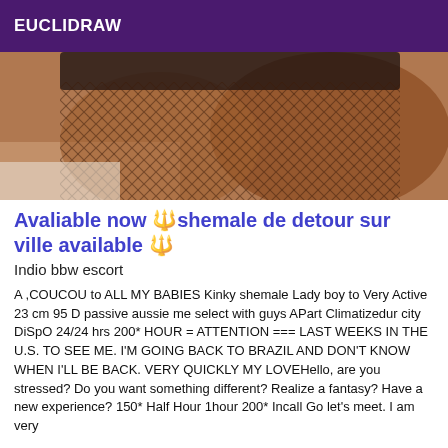EUCLIDRAW
[Figure (photo): Close-up photo of legs wearing fishnet stockings on a white surface]
Avaliable now 🔱shemale de detour sur ville available 🔱
Indio bbw escort
A ,COUCOU to ALL MY BABIES Kinky shemale Lady boy to Very Active 23 cm 95 D passive aussie me select with guys APart Climatizedur city DiSpO 24/24 hrs 200* HOUR = ATTENTION === LAST WEEKS IN THE U.S. TO SEE ME. I'M GOING BACK TO BRAZIL AND DON'T KNOW WHEN I'LL BE BACK. VERY QUICKLY MY LOVEHello, are you stressed? Do you want something different? Realize a fantasy? Have a new experience? 150* Half Hour 1hour 200* Incall Go let's meet. I am very